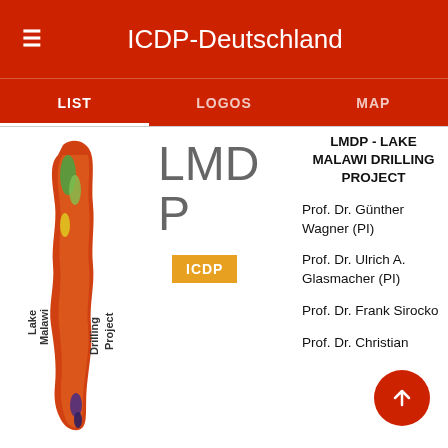ICDP-Deutschland
LIST   LOGOS   MAP
[Figure (logo): Lake Malawi Drilling Project vertical logo with colorful fish/lake silhouette and text rotated vertically]
LMDP
ICDP
LMDP - LAKE MALAWI DRILLING PROJECT
Prof. Dr. Günther Wagner (PI)
Prof. Dr. Ulrich A. Glasmacher (PI)
Prof. Dr. Frank Sirocko
Prof. Dr. Christian